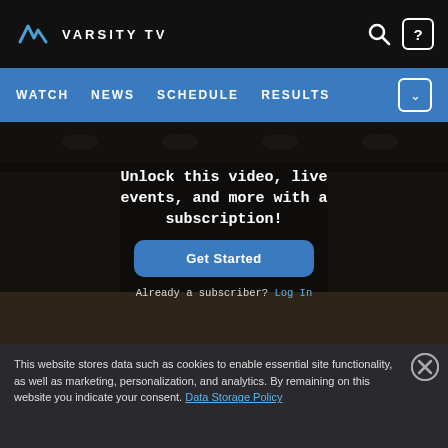VARSITY TV
[Figure (screenshot): Varsity TV website screenshot showing navigation bar with WATCH, NEWS, SCHEDULE, RESULTS links, a video player with subscription overlay saying 'Unlock this video, live events, and more with a subscription!' and a Get Started button, plus a cookie consent banner]
Unlock this video, live events, and more with a subscription!
Get Started
Already a subscriber? Log In
This website stores data such as cookies to enable essential site functionality, as well as marketing, personalization, and analytics. By remaining on this website you indicate your consent. Data Storage Policy